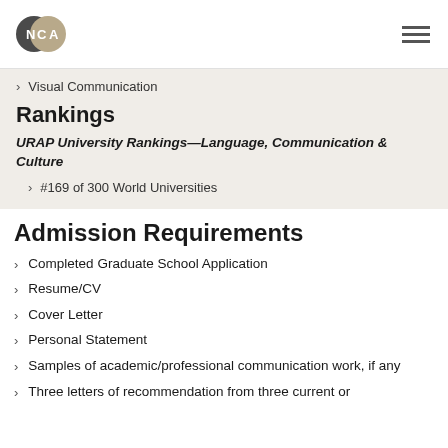NCA logo and navigation
Visual Communication
Rankings
URAP University Rankings—Language, Communication & Culture
#169 of 300 World Universities
Admission Requirements
Completed Graduate School Application
Resume/CV
Cover Letter
Personal Statement
Samples of academic/professional communication work, if any
Three letters of recommendation from three current or